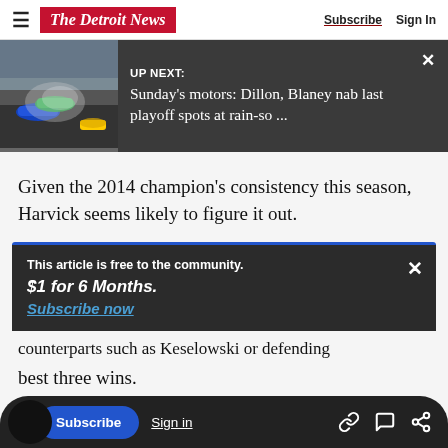The Detroit News — Subscribe | Sign In
[Figure (screenshot): UP NEXT: Sunday's motors: Dillon, Blaney nab last playoff spots at rain-so ... — with race car crash photo thumbnail]
Given the 2014 champion's consistency this season, Harvick seems likely to figure it out.
This article is free to the community. $1 for 6 Months. Subscribe now
counterparts such as Keselowski or defending
best three wins.